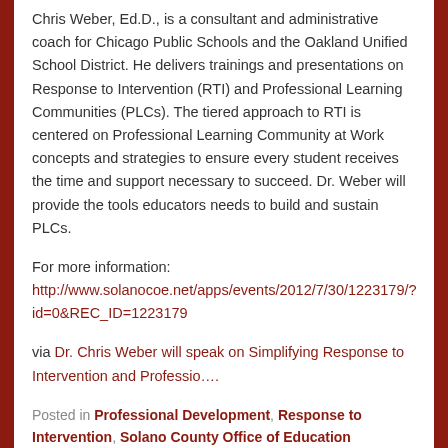Chris Weber, Ed.D., is a consultant and administrative coach for Chicago Public Schools and the Oakland Unified School District. He delivers trainings and presentations on Response to Intervention (RTI) and Professional Learning Communities (PLCs). The tiered approach to RTI is centered on Professional Learning Community at Work concepts and strategies to ensure every student receives the time and support necessary to succeed. Dr. Weber will provide the tools educators needs to build and sustain PLCs.
For more information: http://www.solanocoe.net/apps/events/2012/7/30/1223179/?id=0&REC_ID=1223179
via Dr. Chris Weber will speak on Simplifying Response to Intervention and Professio….
Posted in Professional Development, Response to Intervention, Solano County Office of Education